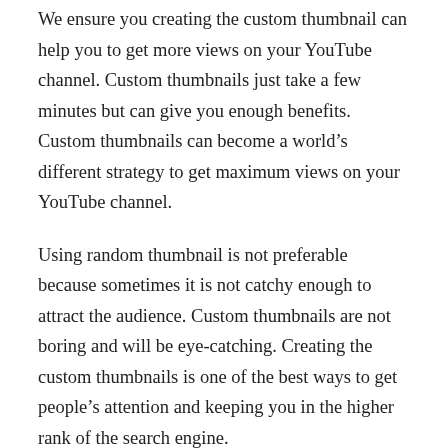We ensure you creating the custom thumbnail can help you to get more views on your YouTube channel. Custom thumbnails just take a few minutes but can give you enough benefits. Custom thumbnails can become a world's different strategy to get maximum views on your YouTube channel.
Using random thumbnail is not preferable because sometimes it is not catchy enough to attract the audience. Custom thumbnails are not boring and will be eye-catching. Creating the custom thumbnails is one of the best ways to get people's attention and keeping you in the higher rank of the search engine.
Try to optimize your video